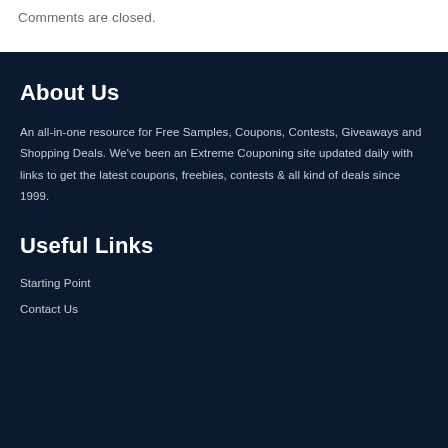Comments are closed.
About Us
An all-in-one resource for Free Samples, Coupons, Contests, Giveaways and Shopping Deals. We've been an Extreme Couponing site updated daily with links to get the latest coupons, freebies, contests & all kind of deals since 1999.
Useful Links
Starting Point
Contact Us